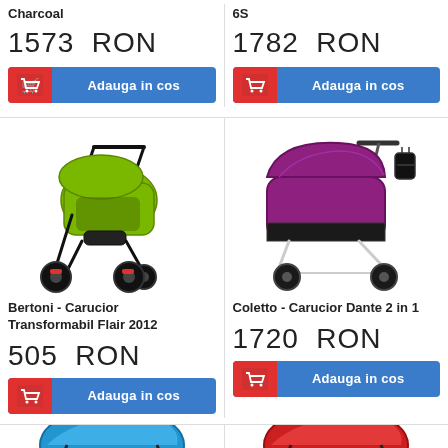Charcoal
6S
1573 RON
1782 RON
Adauga in cos
Adauga in cos
[Figure (photo): Green Bertoni stroller/pushchair]
[Figure (photo): Purple/magenta Coletto Dante 2 in 1 pram]
Bertoni - Carucior Transformabil Flair 2012
Coletto - Carucior Dante 2 in 1
505 RON
1720 RON
Adauga in cos
Adauga in cos
[Figure (photo): Partial view of blue stroller]
[Figure (photo): Partial view of red stroller]